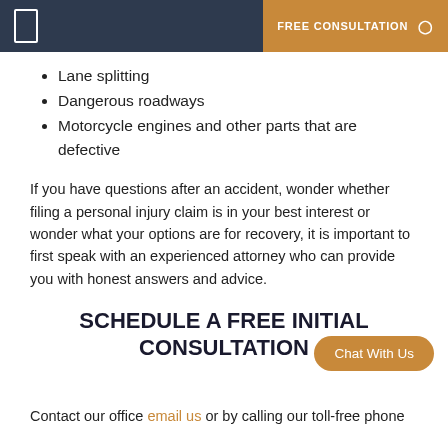FREE CONSULTATION
Lane splitting
Dangerous roadways
Motorcycle engines and other parts that are defective
If you have questions after an accident, wonder whether filing a personal injury claim is in your best interest or wonder what your options are for recovery, it is important to first speak with an experienced attorney who can provide you with honest answers and advice.
SCHEDULE A FREE INITIAL CONSULTATION
Contact our office email us or by calling our toll-free phone